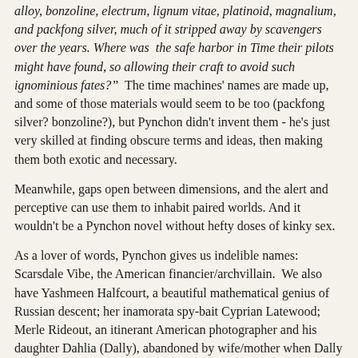alloy, bonzoline, electrum, lignum vitae, platinoid, magnalium, and packfong silver, much of it stripped away by scavengers over the years. Where was  the safe harbor in Time their pilots might have found, so allowing their craft to avoid such ignominious fates?"  The time machines' names are made up, and some of those materials would seem to be too (packfong silver? bonzoline?), but Pynchon didn't invent them - he's just very skilled at finding obscure terms and ideas, then making them both exotic and necessary.
Meanwhile, gaps open between dimensions, and the alert and perceptive can use them to inhabit paired worlds. And it wouldn't be a Pynchon novel without hefty doses of kinky sex.
As a lover of words, Pynchon gives us indelible names: Scarsdale Vibe, the American financier/archvillain.  We also have Yashmeen Halfcourt, a beautiful mathematical genius of Russian descent; her inamorata spy-bait Cyprian Latewood; Merle Rideout, an itinerant American photographer and his daughter Dahlia (Dally), abandoned by wife/mother when Dally was little; Lew Basnight, a private detective hired by Vibe and his henchman Foley Walker to